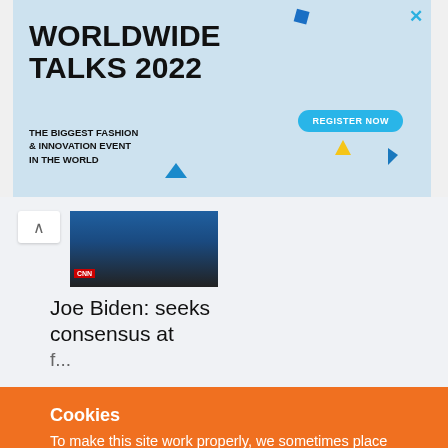[Figure (screenshot): Advertisement banner for Worldwide Talks 2022 - The Biggest Fashion & Innovation Event In The World. Light blue background with a model, geometric shapes, and a 'Register Now' button in cyan.]
[Figure (photo): Thumbnail photo of Joe Biden at a podium or event.]
Joe Biden: seeks consensus at f...
Cookies
To make this site work properly, we sometimes place small data files called cookies on your device. Most big websites do this too.
✔  Accept
Change Settings  ⚙